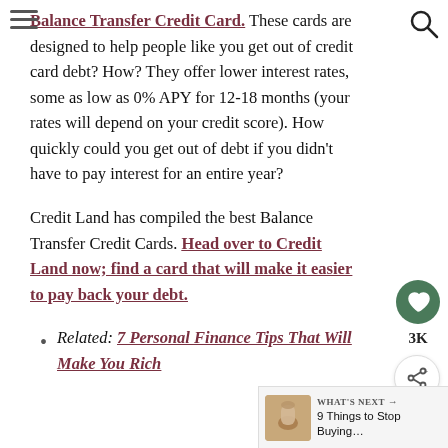Balance Transfer Credit Card. These cards are designed to help people like you get out of credit card debt? How? They offer lower interest rates, some as low as 0% APY for 12-18 months (your rates will depend on your credit score). How quickly could you get out of debt if you didn't have to pay interest for an entire year?
Credit Land has compiled the best Balance Transfer Credit Cards. Head over to Credit Land now; find a card that will make it easier to pay back your debt.
Related: 7 Personal Finance Tips That Will Make You Rich